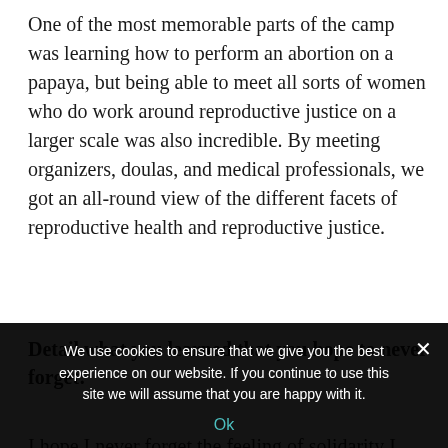One of the most memorable parts of the camp was learning how to perform an abortion on a papaya, but being able to meet all sorts of women who do work around reproductive justice on a larger scale was also incredible. By meeting organizers, doulas, and medical professionals, we got an all-round view of the different facets of reproductive health and reproductive justice.
Detail what you learned that you hope to never forget:
I hope I never forget the feeling of solidarity I had
We use cookies to ensure that we give you the best experience on our website. If you continue to use this site we will assume that you are happy with it.
Ok